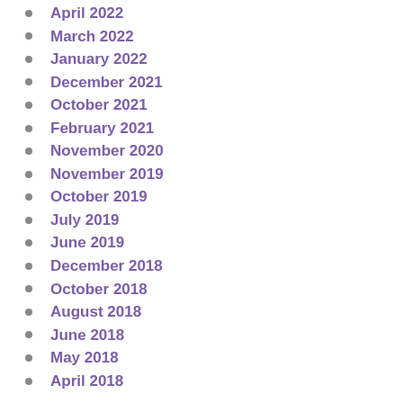April 2022
March 2022
January 2022
December 2021
October 2021
February 2021
November 2020
November 2019
October 2019
July 2019
June 2019
December 2018
October 2018
August 2018
June 2018
May 2018
April 2018